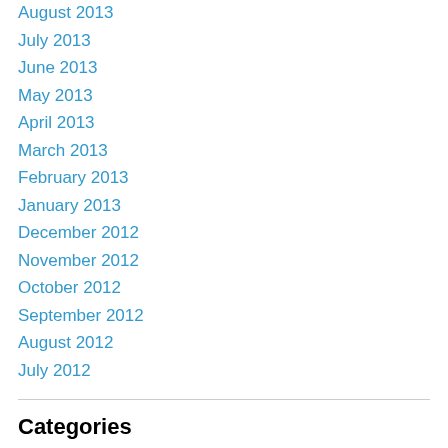August 2013
July 2013
June 2013
May 2013
April 2013
March 2013
February 2013
January 2013
December 2012
November 2012
October 2012
September 2012
August 2012
July 2012
Categories
Body
Books
Christ